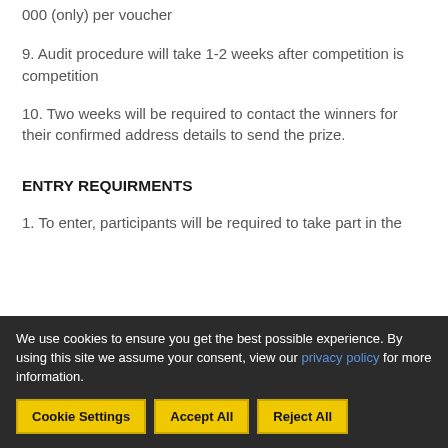000 (only) per voucher
9. Audit procedure will take 1-2 weeks after competition is competition
10. Two weeks will be required to contact the winners for their confirmed address details to send the prize.
ENTRY REQUIRMENTS
1. To enter, participants will be required to take part in the
We use cookies to ensure you get the best possible experience. By using this site we assume your consent, view our privacy policy for more information.